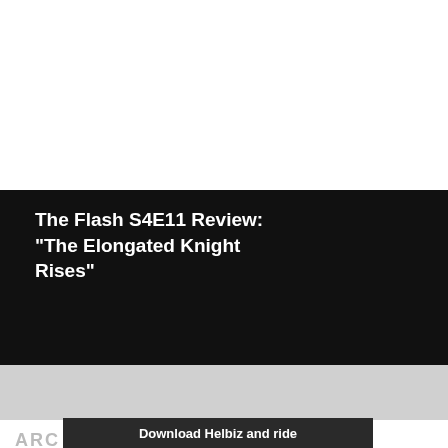The Flash S4E11 Review: "The Elongated Knight Rises"
[Figure (infographic): Review card with dark background showing title 'The Flash S4E11 Review: The Elongated Knight Rises' with 4-star rating (4 filled gold stars and 1 light blue/grey half star) and large number 4. Below is a grey bar with same star rating and an X close button.]
[Figure (screenshot): Advertisement banner at the bottom reading 'Download Helbiz and ride' with a bicycle handlebar image in background. Has ad indicator icons top right.]
ARC